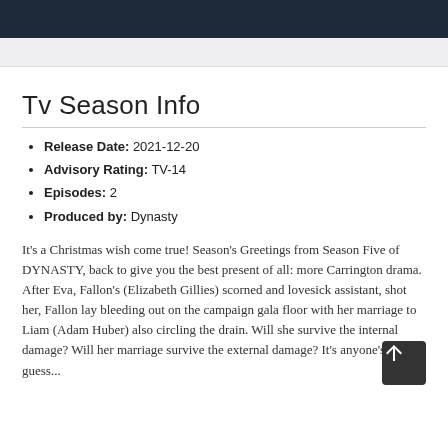Tv Season Info
Release Date: 2021-12-20
Advisory Rating: TV-14
Episodes: 2
Produced by: Dynasty
It's a Christmas wish come true! Season's Greetings from Season Five of DYNASTY, back to give you the best present of all: more Carrington drama. After Eva, Fallon's (Elizabeth Gillies) scorned and lovesick assistant, shot her, Fallon lay bleeding out on the campaign gala floor with her marriage to Liam (Adam Huber) also circling the drain. Will she survive the internal damage? Will her marriage survive the external damage? It's anyone's guess...